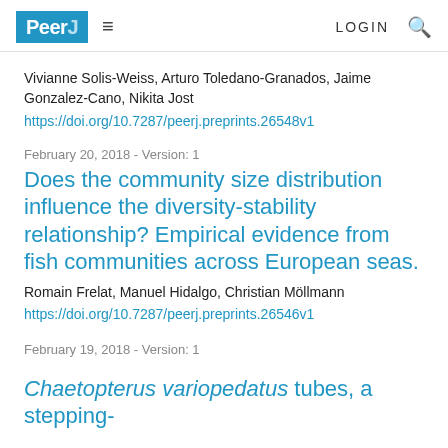PeerJ LOGIN
Vivianne Solis-Weiss, Arturo Toledano-Granados, Jaime Gonzalez-Cano, Nikita Jost
https://doi.org/10.7287/peerj.preprints.26548v1
February 20, 2018 - Version: 1
Does the community size distribution influence the diversity-stability relationship? Empirical evidence from fish communities across European seas.
Romain Frelat, Manuel Hidalgo, Christian Möllmann
https://doi.org/10.7287/peerj.preprints.26546v1
February 19, 2018 - Version: 1
Chaetopterus variopedatus tubes, a stepping-